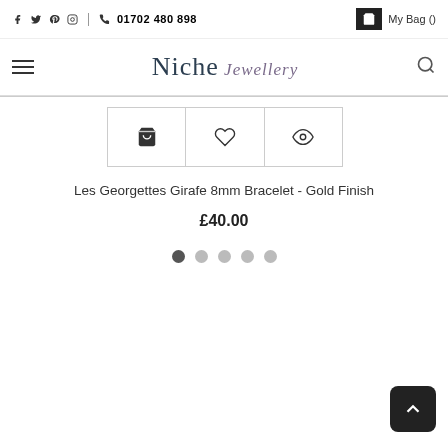f  twitter  pinterest  instagram  |  phone  01702 480 898  |  My Bag ()
[Figure (logo): Niche Jewellery logo with hamburger menu on left and search icon on right]
[Figure (screenshot): Product card showing bag, heart, and eye action icons]
Les Georgettes Girafe 8mm Bracelet - Gold Finish
£40.00
[Figure (other): Carousel pagination dots - 5 dots, first one active]
[Figure (other): Scroll to top button arrow]